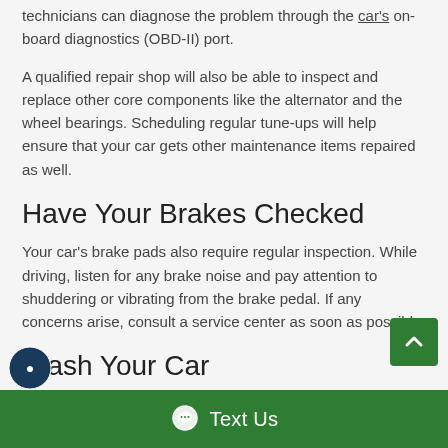technicians can diagnose the problem through the car's on-board diagnostics (OBD-II) port.
A qualified repair shop will also be able to inspect and replace other core components like the alternator and the wheel bearings. Scheduling regular tune-ups will help ensure that your car gets other maintenance items repaired as well.
Have Your Brakes Checked
Your car's brake pads also require regular inspection. While driving, listen for any brake noise and pay attention to shuddering or vibrating from the brake pedal. If any concerns arise, consult a service center as soon as possible
Wash Your Car
car is subjected to all sorts of elements, from road...